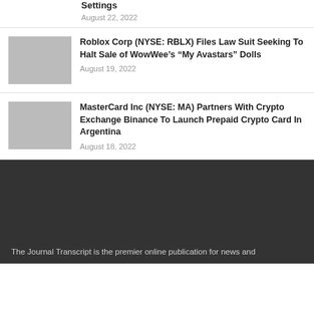Settings
August 22, 2022
Roblox Corp (NYSE: RBLX) Files Law Suit Seeking To Halt Sale of WowWee’s “My Avastars” Dolls
August 19, 2022
MasterCard Inc (NYSE: MA) Partners With Crypto Exchange Binance To Launch Prepaid Crypto Card In Argentina
August 18, 2022
The Journal Transcript is the premier online publication for news and